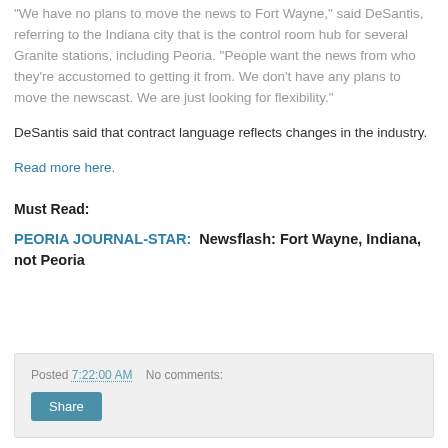"We have no plans to move the news to Fort Wayne," said DeSantis, referring to the Indiana city that is the control room hub for several Granite stations, including Peoria. "People want the news from who they're accustomed to getting it from. We don't have any plans to move the newscast. We are just looking for flexibility."
DeSantis said that contract language reflects changes in the industry.
Read more here.
Must Read:
PEORIA JOURNAL-STAR:  Newsflash: Fort Wayne, Indiana, not Peoria
Posted 7:22:00 AM    No comments:
Share